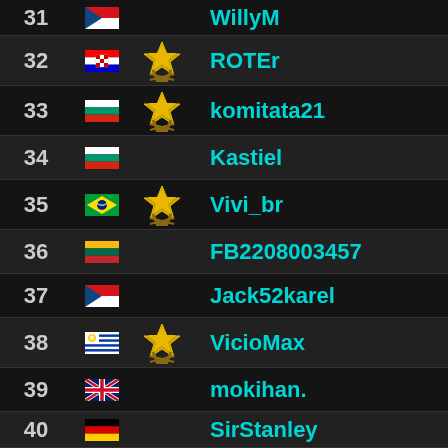| Rank | Country | Badge | Username |
| --- | --- | --- | --- |
| 31 | CZ |  | WillyM |
| 32 | HR | gold | ROTEr |
| 33 | BG | gold | komitata21 |
| 34 | BG |  | Kastiel |
| 35 | BR | gold | Vivi_br |
| 36 | LT |  | FB2208003457 |
| 37 | CZ |  | Jack52karel |
| 38 | UY | gold | VicioMax |
| 39 | GB |  | mokihan. |
| 40 | DE |  | SirStanley |